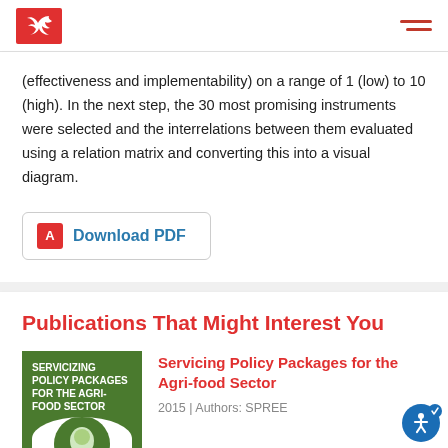Navigation bar with logo and hamburger menu
(effectiveness and implementability) on a range of 1 (low) to 10 (high). In the next step, the 30 most promising instruments were selected and the interrelations between them evaluated using a relation matrix and converting this into a visual diagram.
Download PDF
Publications That Might Interest You
[Figure (illustration): Book cover thumbnail for 'Servicizing Policy Packages for the Agri-food Sector' — green background with white title text and a circular illustration]
Servicing Policy Packages for the Agri-food Sector
2015 | Authors: SPREE